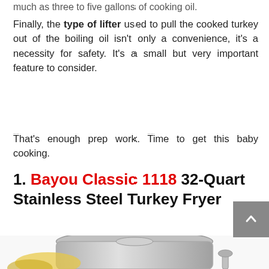much as three to five gallons of cooking oil.
Finally, the type of lifter used to pull the cooked turkey out of the boiling oil isn't only a convenience, it's a necessity for safety. It's a small but very important feature to consider.
That's enough prep work. Time to get this baby cooking.
1. Bayou Classic 1118 32-Quart Stainless Steel Turkey Fryer
[Figure (photo): Photo of a stainless steel turkey fryer pot with lid and accessories, partially visible at bottom of page.]